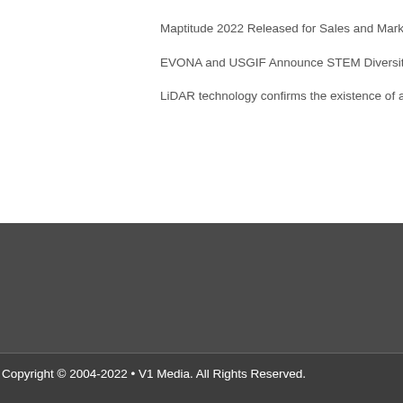Maptitude 2022 Released for Sales and Marketing Business Development
EVONA and USGIF Announce STEM Diversity Scholarship Winner
LiDAR technology confirms the existence of a 'Lost City' in the Brazilian Amazon
Copyright © 2004-2022 • V1 Media. All Rights Reserved.